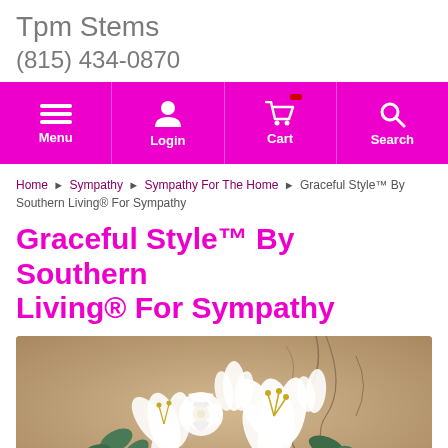Tpm Stems
(815) 434-0870
[Figure (screenshot): Navigation bar with magenta background showing Menu, Login, Cart, and Search icons]
Home › Sympathy › Sympathy For The Home › Graceful Style™ By Southern Living® For Sympathy
Graceful Style™ By Southern Living® For Sympathy
[Figure (photo): A floral arrangement of white lilies, roses, and greenery with eucalyptus and twigs against a warm tan/beige background]